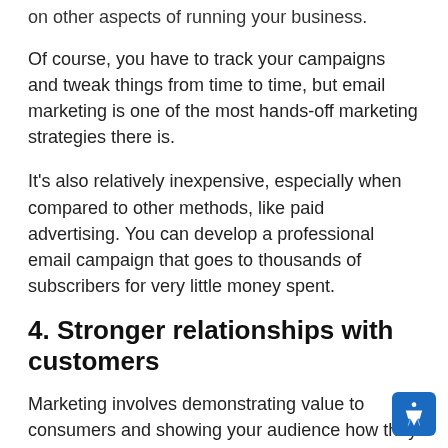on other aspects of running your business.
Of course, you have to track your campaigns and tweak things from time to time, but email marketing is one of the most hands-off marketing strategies there is.
It's also relatively inexpensive, especially when compared to other methods, like paid advertising. You can develop a professional email campaign that goes to thousands of subscribers for very little money spent.
4. Stronger relationships with customers
Marketing involves demonstrating value to consumers and showing your audience how they can take the next step with your business. Once someone joins your email list, you have an opportunity to send them useful, relevant content.